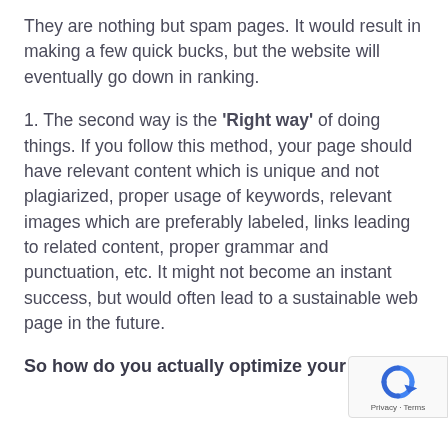They are nothing but spam pages. It would result in making a few quick bucks, but the website will eventually go down in ranking.
1. The second way is the 'Right way' of doing things. If you follow this method, your page should have relevant content which is unique and not plagiarized, proper usage of keywords, relevant images which are preferably labeled, links leading to related content, proper grammar and punctuation, etc. It might not become an instant success, but would often lead to a sustainable web page in the future.
So how do you actually optimize your
[Figure (other): reCAPTCHA badge with Privacy and Terms links]